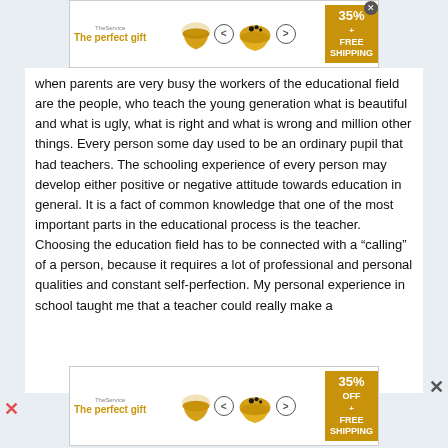[Figure (infographic): Advertisement banner: 'The perfect gift' with bowl image, navigation arrows, 35% FREE SHIPPING badge, close button]
when parents are very busy the workers of the educational field are the people, who teach the young generation what is beautiful and what is ugly, what is right and what is wrong and million other things. Every person some day used to be an ordinary pupil that had teachers. The schooling experience of every person may develop either positive or negative attitude towards education in general. It is a fact of common knowledge that one of the most important parts in the educational process is the teacher. Choosing the education field has to be connected with a “calling” of a person, because it requires a lot of professional and personal qualities and constant self-perfection. My personal experience in school taught me that a teacher could really make a
[Figure (infographic): Advertisement banner: 'The perfect gift' with bowl image, navigation arrows, 35% OFF + FREE SHIPPING badge]